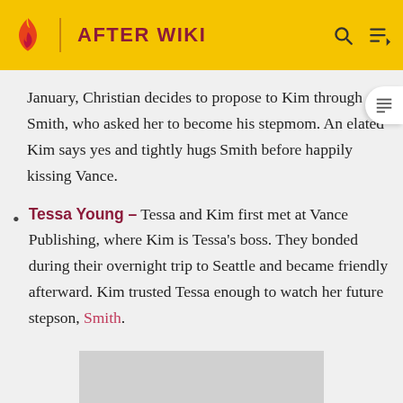AFTER WIKI
January, Christian decides to propose to Kim through Smith, who asked her to become his stepmom. An elated Kim says yes and tightly hug Smith before happily kissing Vance.
Tessa Young - Tessa and Kim first met at Vance Publishing, where Kim is Tessa's boss. They bonded during their overnight trip to Seattle and became friendly afterward. Kim trusted Tessa enough to watch her future stepson, Smith.
[Figure (photo): Gray placeholder image box]